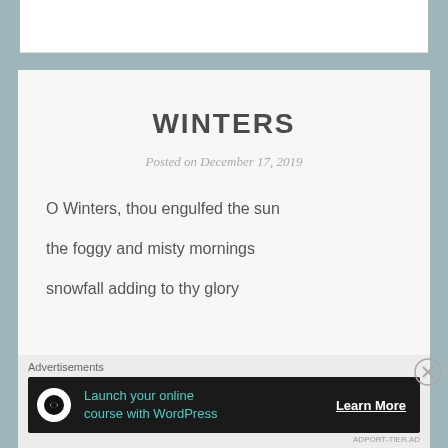WINTERS
Posted on December 17, 2019
O Winters, thou engulfed the sun
the foggy and misty mornings
snowfall adding to thy glory
Advertisements
[Figure (other): Advertisement banner: Launch your online course with WordPress — Learn More]